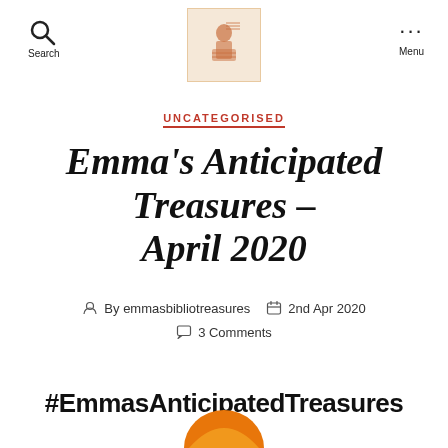Search | [Logo] | Menu
UNCATEGORISED
Emma's Anticipated Treasures – April 2020
By emmasbibliotreasures  2nd Apr 2020
3 Comments
#EmmasAnticipatedTreasures
[Figure (illustration): Orange circular book/pie illustration partially visible at the bottom of the page]